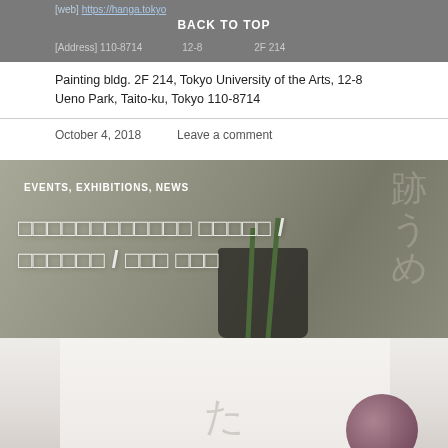[web] https://hanga.tokyo [Address] 110-8714  12-8  2F 214 BACK TO TOP
Painting bldg. 2F 214, Tokyo University of the Arts, 12-8 Ueno Park, Taito-ku, Tokyo 110-8714
October 4, 2018   Leave a comment
[Figure (photo): Hero image showing a potted plant with green shoots in front of a wall with Japanese calligraphy/text, overlaid with category labels EVENTS, EXHIBITIONS, NEWS and Japanese title text in white]
EVENTS, EXHIBITIONS, NEWS
□□□□□□□□□□□□ □□□□□ / □□□□□□ / □□□ □□□
[Figure (photo): Bottom portion of page showing a white/grey background photo with a partially visible purple/maroon spherical object and faint Japanese character watermark]